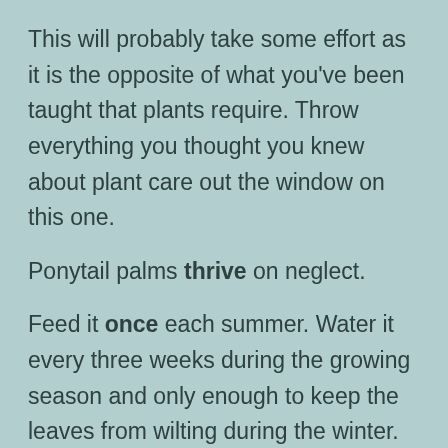This will probably take some effort as it is the opposite of what you've been taught that plants require. Throw everything you thought you knew about plant care out the window on this one.
Ponytail palms thrive on neglect.
Feed it once each summer. Water it every three weeks during the growing season and only enough to keep the leaves from wilting during the winter. Even if that means you only water it once the entire winter.